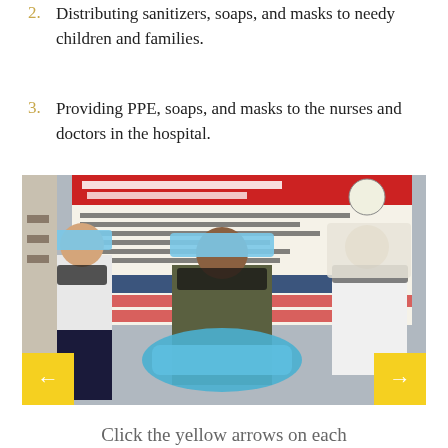2. Distributing sanitizers, soaps, and masks to needy children and families.
3. Providing PPE, soaps, and masks to the nurses and doctors in the hospital.
[Figure (photo): Three people wearing face masks and hair covers standing in front of a banner that reads 'PREVENT NOVEL CORONAVIRUS (COVID-19)' with hygiene guidelines. A person in the center is holding blue medical garments/PPE. Text on banner includes 'hand sanitizer & masks distribution' and 'RESEARCH AND EMPOWERMENT ORGANIZATION GLOBAL RIGHTS DEFENCE'. Yellow navigation arrows visible at bottom left and right corners.]
Click the yellow arrows on each